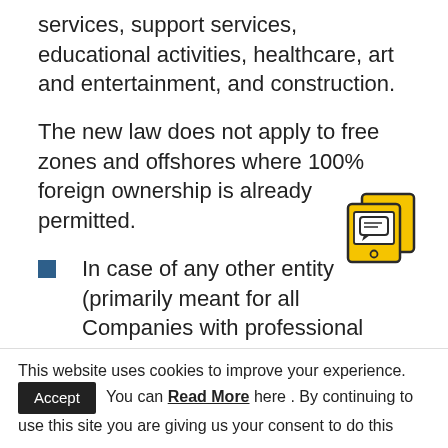services, support services, educational activities, healthcare, art and entertainment, and construction.
The new law does not apply to free zones and offshores where 100% foreign ownership is already permitted.
[Figure (illustration): Yellow icon showing a tablet/phone device with chat/document symbol]
In case of any other entity (primarily meant for all Companies with professional category licenses), the UAE nationals will be acting as a Local Service Agent (LSA), wherein the
This website uses cookies to improve your experience. You can Read More here . By continuing to use this site you are giving us your consent to do this